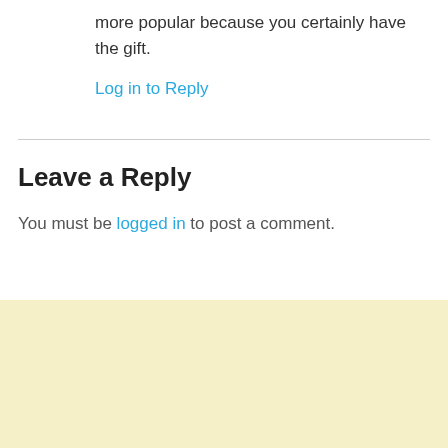more popular because you certainly have the gift.
Log in to Reply
Leave a Reply
You must be logged in to post a comment.